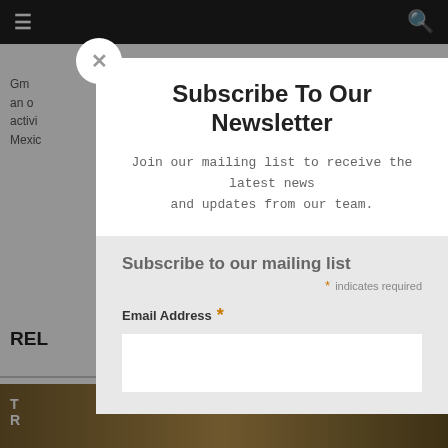[Figure (screenshot): Website navigation bar with hamburger menu on left and search icon on right, dark background]
[Figure (screenshot): Background page content partially visible behind modal overlay showing article text and related section header]
Subscribe To Our Newsletter
Join our mailing list to receive the latest news and updates from our team.
Subscribe to our mailing list
* indicates required
Email Address *